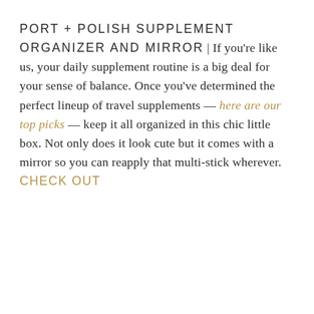PORT + POLISH SUPPLEMENT ORGANIZER AND MIRROR | If you're like us, your daily supplement routine is a big deal for your sense of balance. Once you've determined the perfect lineup of travel supplements — here are our top picks — keep it all organized in this chic little box. Not only does it look cute but it comes with a mirror so you can reapply that multi-stick wherever. CHECK OUT